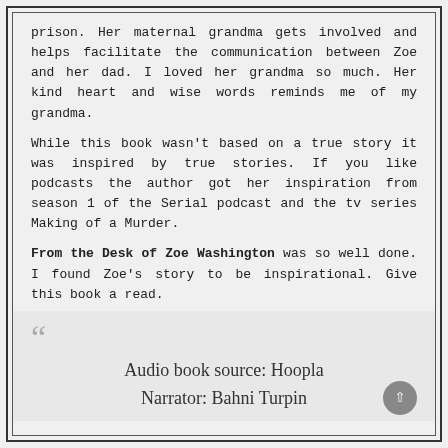prison. Her maternal grandma gets involved and helps facilitate the communication between Zoe and her dad. I loved her grandma so much. Her kind heart and wise words reminds me of my grandma.
While this book wasn't based on a true story it was inspired by true stories. If you like podcasts the author got her inspiration from season 1 of the Serial podcast and the tv series Making of a Murder.
From the Desk of Zoe Washington was so well done. I found Zoe's story to be inspirational. Give this book a read.
Audio book source: Hoopla
Narrator: Bahni Turpin